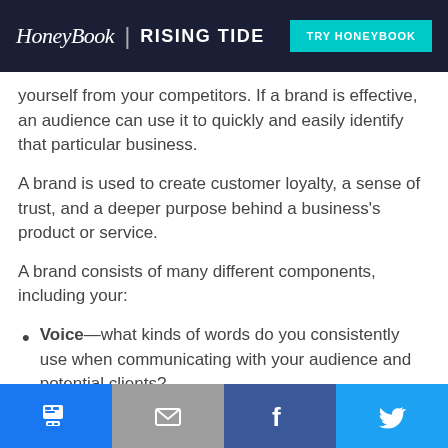HoneyBook | RISING TIDE — TRY HONEYBOOK
yourself from your competitors. If a brand is effective, an audience can use it to quickly and easily identify that particular business.
A brand is used to create customer loyalty, a sense of trust, and a deeper purpose behind a business's product or service.
A brand consists of many different components, including your:
Voice—what kinds of words do you consistently use when communicating with your audience and potential clients?
Share buttons: SMS, Email, Facebook, Twitter